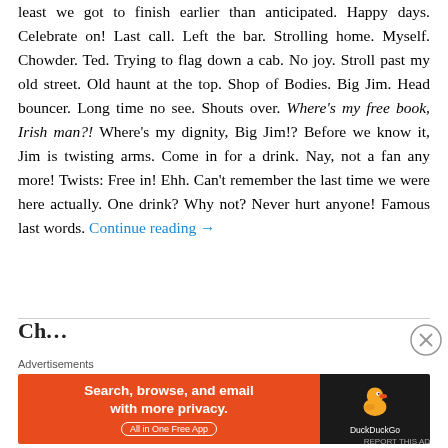least we got to finish earlier than anticipated. Happy days. Celebrate on! Last call. Left the bar. Strolling home. Myself. Chowder. Ted. Trying to flag down a cab. No joy. Stroll past my old street. Old haunt at the top. Shop of Bodies. Big Jim. Head bouncer. Long time no see. Shouts over. Where's my free book, Irish man?! Where's my dignity, Big Jim!? Before we know it, Jim is twisting arms. Come in for a drink. Nay, not a fan any more! Twists: Free in! Ehh. Can't remember the last time we were here actually. One drink? Why not? Never hurt anyone! Famous last words. Continue reading →
Chapter Title...
[Figure (screenshot): DuckDuckGo advertisement banner: orange left section with text 'Search, browse, and email with more privacy. All in One Free App' and dark right section with DuckDuckGo logo]
REPORT THIS AD